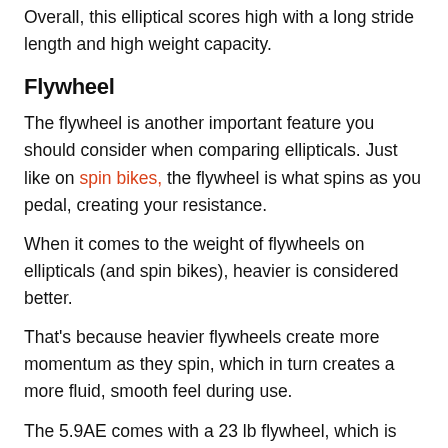Overall, this elliptical scores high with a long stride length and high weight capacity.
Flywheel
The flywheel is another important feature you should consider when comparing ellipticals. Just like on spin bikes, the flywheel is what spins as you pedal, creating your resistance.
When it comes to the weight of flywheels on ellipticals (and spin bikes), heavier is considered better.
That's because heavier flywheels create more momentum as they spin, which in turn creates a more fluid, smooth feel during use.
The 5.9AE comes with a 23 lb flywheel, which is very heavy for a budget elliptical. For comparison's sake,